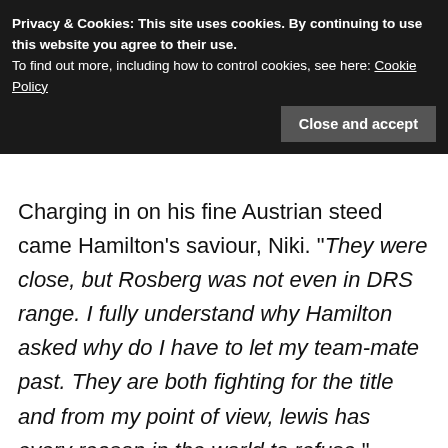Privacy & Cookies: This site uses cookies. By continuing to use this website you agree to their use.
To find out more, including how to control cookies, see here: Cookie Policy
Close and accept
Charging in on his fine Austrian steed came Hamilton's saviour, Niki. "They were close, but Rosberg was not even in DRS range. I fully understand why Hamilton asked why do I have to let my team-mate past. They are both fighting for the title and from my point of view, lewis has every reason in the world to refuse."